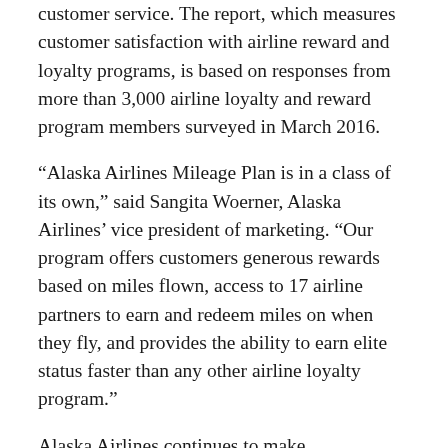customer service. The report, which measures customer satisfaction with airline reward and loyalty programs, is based on responses from more than 3,000 airline loyalty and reward program members surveyed in March 2016.
“Alaska Airlines Mileage Plan is in a class of its own,” said Sangita Woerner, Alaska Airlines’ vice president of marketing. “Our program offers customers generous rewards based on miles flown, access to 17 airline partners to earn and redeem miles on when they fly, and provides the ability to earn elite status faster than any other airline loyalty program.”
Alaska Airlines continues to make enhancements to its frequent flier program that make it even easier to earn miles. Customers can now earn bonuses between 25 – 75 percent when they fly in first class, refundable coach and many business fares, while MVP Gold 75k members can earn an